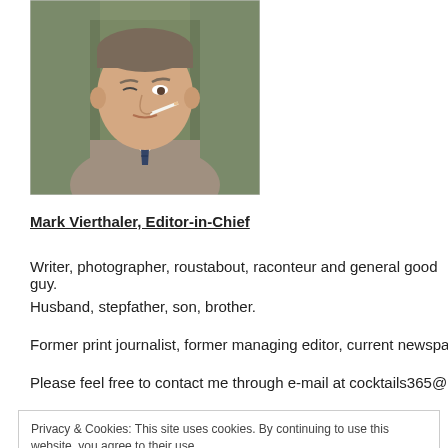[Figure (illustration): Illustrated portrait of a man in a suit and tie with a cigarette, olive/green background]
Mark Vierthaler, Editor-in-Chief
Writer, photographer, roustabout, raconteur and general good guy.
Husband, stepfather, son, brother.
Former print journalist, former managing editor, current newspaper b
Please feel free to contact me through e-mail at cocktails365@markv
Privacy & Cookies: This site uses cookies. By continuing to use this website, you agree to their use.
To find out more, including how to control cookies, see here: Cookie Policy
Close and accept